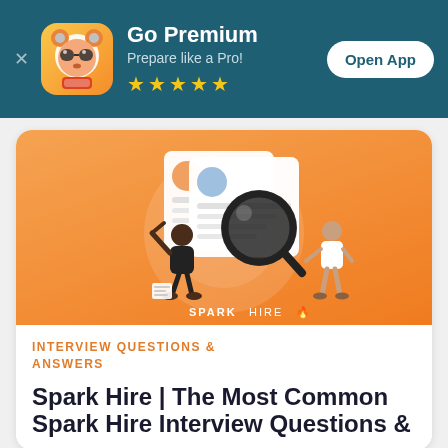[Figure (infographic): App promotional banner with raccoon mascot icon, Go Premium heading, Prepare like a Pro! tagline, five yellow stars, and Open App button on dark teal background]
[Figure (illustration): Orange gradient background with illustrated figures examining resumes/documents with a magnifying glass, Spark Hire logo at bottom]
INTERVIEW QUESTIONS & ANSWERS
Spark Hire | The Most Common Spark Hire Interview Questions &